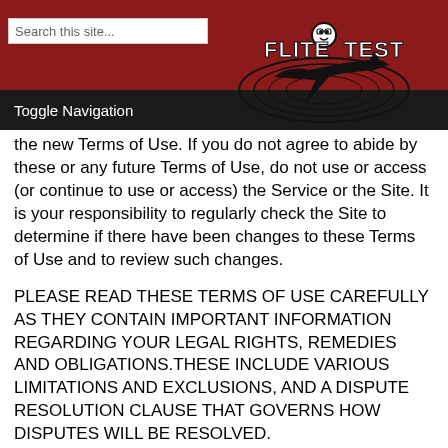[Figure (screenshot): Website header with dark red background, search box, Flite Test logo, and black navigation bar with Toggle Navigation text]
the new Terms of Use. If you do not agree to abide by these or any future Terms of Use, do not use or access (or continue to use or access) the Service or the Site. It is your responsibility to regularly check the Site to determine if there have been changes to these Terms of Use and to review such changes.
PLEASE READ THESE TERMS OF USE CAREFULLY AS THEY CONTAIN IMPORTANT INFORMATION REGARDING YOUR LEGAL RIGHTS, REMEDIES AND OBLIGATIONS.THESE INCLUDE VARIOUS LIMITATIONS AND EXCLUSIONS, AND A DISPUTE RESOLUTION CLAUSE THAT GOVERNS HOW DISPUTES WILL BE RESOLVED.
Eligibility